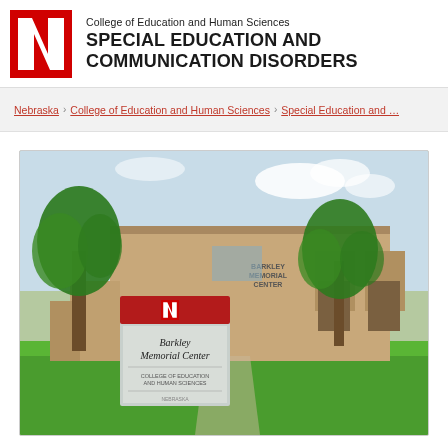[Figure (logo): University of Nebraska red N logo]
College of Education and Human Sciences
SPECIAL EDUCATION AND COMMUNICATION DISORDERS
Nebraska › College of Education and Human Sciences › Special Education and …
[Figure (photo): Exterior photo of Barkley Memorial Center building at the University of Nebraska, with green lawn, trees, and a sign reading 'Barkley Memorial Center' with the University of Nebraska N logo on a red band at the top of the sign.]